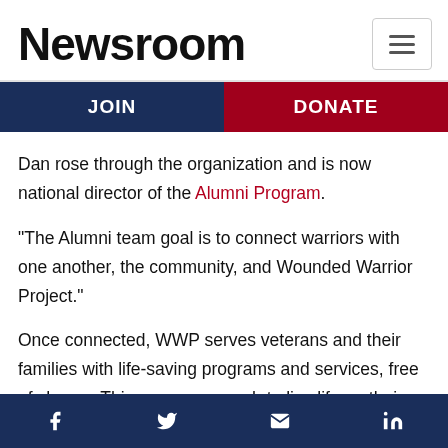Newsroom
JOIN | DONATE
Dan rose through the organization and is now national director of the Alumni Program.
“The Alumni team goal is to connect warriors with one another, the community, and Wounded Warrior Project.”
Once connected, WWP serves veterans and their families with life-saving programs and services, free of charge. This empowers each to live life on their
f  [twitter]  [email]  in